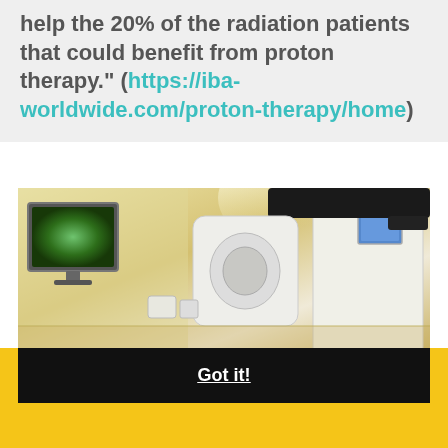help the 20% of the radiation patients that could benefit from proton therapy." (https://iba-worldwide.com/proton-therapy/home)
[Figure (photo): Medical treatment room with green monitor display on wall and white medical equipment/machine with blue screen, warm yellowish lighting]
We use cookies to offer you a better browsing experience, analyze site traffic, personalize content, and serve targeted advertisements. If you continue to use this site, you consent to our use of cookies. Learn more
Got it!